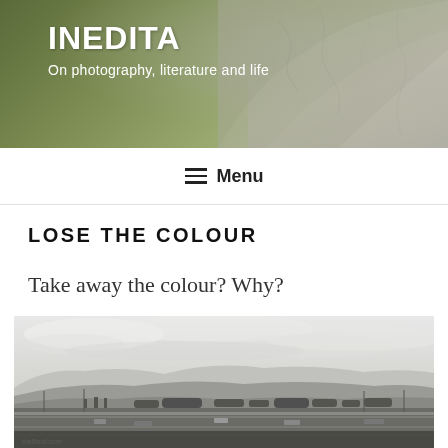INEDITA
On photography, literature and life
≡ Menu
LOSE THE COLOUR
Take away the colour? Why?
[Figure (photo): Black and white landscape photograph showing a wide highway or motorway in the foreground with rolling hills and mountains in the background under a cloudy overcast sky. Trees visible in the middle distance. Mist on the hills.]